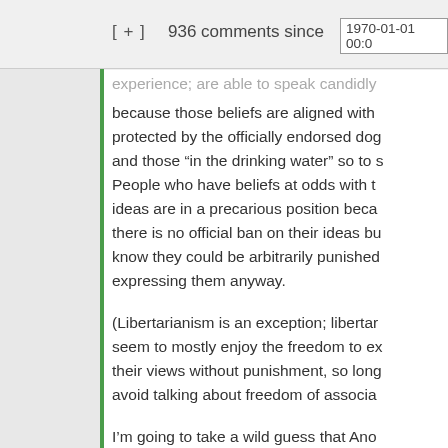[ + ] 936 comments since 1970-01-01 00:0
because those beliefs are aligned with protected by the officially endorsed dog and those “in the drinking water” so to s People who have beliefs at odds with t ideas are in a precarious position beca there is no official ban on their ideas bu know they could be arbitrarily punished expressing them anyway.
(Libertarianism is an exception; libertar seem to mostly enjoy the freedom to e their views without punishment, so long avoid talking about freedom of associa
I’m going to take a wild guess that Ano Comment is white, so he probably has heard lots of people expressing the bel